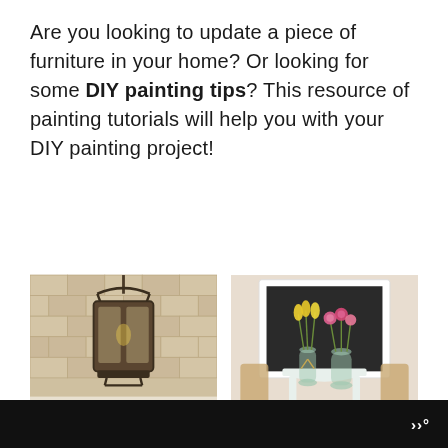Are you looking to update a piece of furniture in your home? Or looking for some DIY painting tips? This resource of painting tutorials will help you with your DIY painting project!
[Figure (photo): A black wrought-iron lantern hanging on a shingle-sided exterior wall above a garage door]
[Figure (photo): A white side table with two glass vases of flowers (yellow tulips and pink roses) against a chalkboard-painted wall in a white frame]
WW°